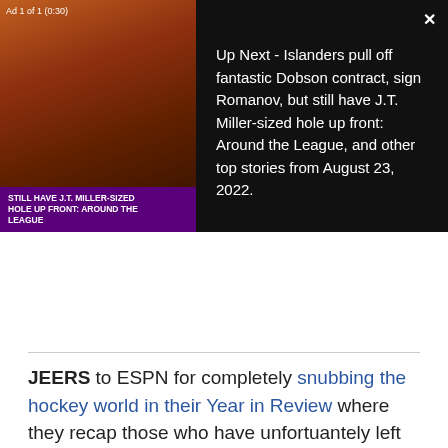[Figure (screenshot): Video ad overlay showing a hockey game thumbnail with purple banner reading 'STILL HAVE J.T. MILLER-SIZED HOLE UP FRONT: AROUND THE LEAGUE' on the left, and 'Up Next - Islanders pull off fantastic Dobson contract, sign Romanov, but still have J.T. Miller-sized hole up front: Around the League, and other top stories from August 23, 2022.' on the right against a dark background. Ad 1 of 1 (0:30) label top-left, X close button top-right.]
JEERS to ESPN for completely snubbing the hockey world in their Year in Review where they recap those who have unfortuantely left us in the